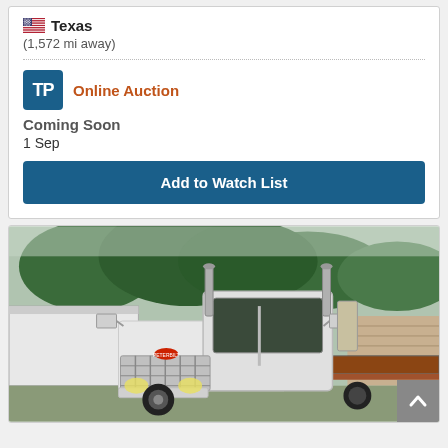Texas
(1,572 mi away)
Online Auction
Coming Soon
1 Sep
Add to Watch List
[Figure (photo): White Peterbilt semi-truck with flatbed trailer parked outdoors. Trees visible in background along with a white trailer on the left and a brick wall. Truck has chrome exhaust stacks and a red Peterbilt logo on the grille.]